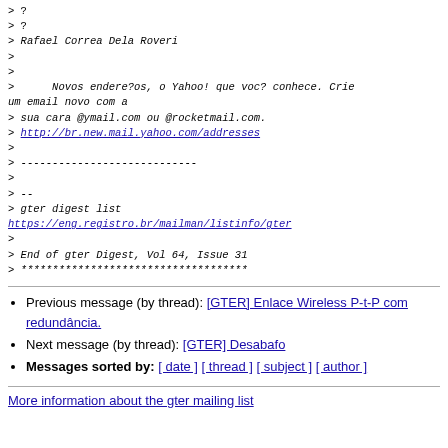> ?
> ?
> Rafael Correa Dela Roveri
>
>
>      Novos endere?os, o Yahoo! que voc? conhece. Crie um email novo com a
> sua cara @ymail.com ou @rocketmail.com.
> http://br.new.mail.yahoo.com/addresses
>
> ----------------------------
>
> --
> gter digest list
https://eng.registro.br/mailman/listinfo/gter
>
> End of gter Digest, Vol 64, Issue 31
> ************************************
Previous message (by thread): [GTER] Enlace Wireless P-t-P com redundância.
Next message (by thread): [GTER] Desabafo
Messages sorted by: [ date ] [ thread ] [ subject ] [ author ]
More information about the gter mailing list